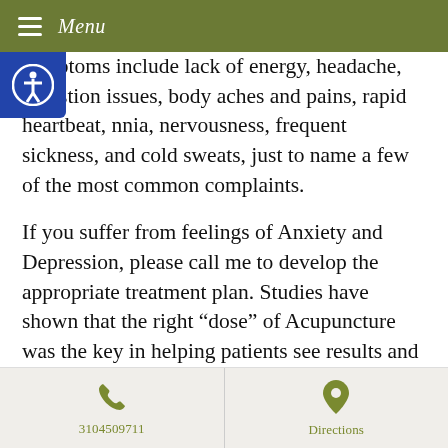Menu
symptoms include lack of energy, headache, digestion issues, body aches and pains, rapid heartbeat, innia, nervousness, frequent sickness, and cold sweats, just to name a few of the most common complaints.
If you suffer from feelings of Anxiety and Depression, please call me to develop the appropriate treatment plan. Studies have shown that the right “dose” of Acupuncture was the key in helping patients see results and a reduction of the symptoms of stress and depression. “Dose” is defined as the number of
3104509711   Directions